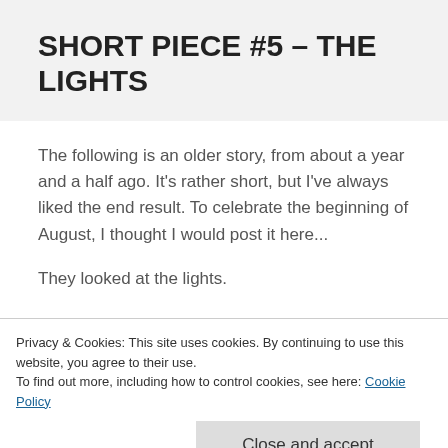SHORT PIECE #5 – THE LIGHTS
The following is an older story, from about a year and a half ago. It's rather short, but I've always liked the end result. To celebrate the beginning of August, I thought I would post it here...
They looked at the lights.
Privacy & Cookies: This site uses cookies. By continuing to use this website, you agree to their use.
To find out more, including how to control cookies, see here: Cookie Policy
Close and accept
clubs made his pocket jacks three of a kind.